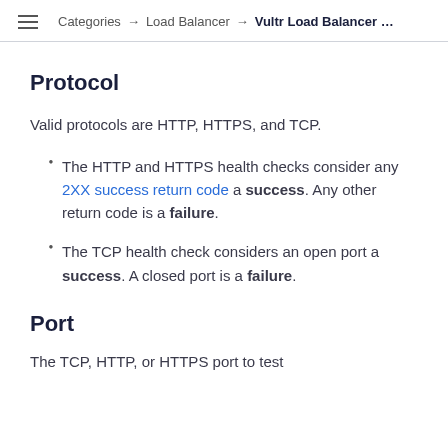Categories → Load Balancer → Vultr Load Balancer …
Protocol
Valid protocols are HTTP, HTTPS, and TCP.
The HTTP and HTTPS health checks consider any 2XX success return code a success. Any other return code is a failure.
The TCP health check considers an open port a success. A closed port is a failure.
Port
The TCP, HTTP, or HTTPS port to test